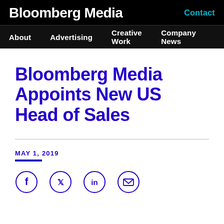Bloomberg Media
Contact
About | Advertising | Creative Work | Company News
Bloomberg Media Appoints New US Head of Sales
MAY 1, 2019